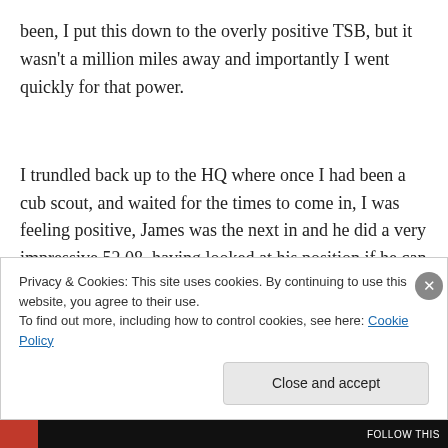been, I put this down to the overly positive TSB, but it wasn't a million miles away and importantly I went quickly for that power.
I trundled back up to the HQ where once I had been a cub scout, and waited for the times to come in, I was feeling positive, James was the next in and he did a very impressive 52.08, having looked at his position if he can
Privacy & Cookies: This site uses cookies. By continuing to use this website, you agree to their use.
To find out more, including how to control cookies, see here: Cookie Policy